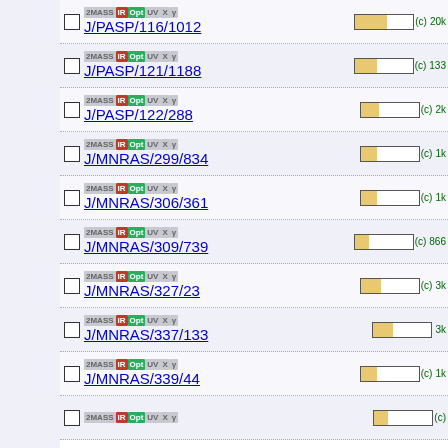J/PASP/116/1012 IR Opt 20k (c)
J/PASP/121/1188 IR Opt 133 (c)
J/PASP/122/288 IR Opt 2k (c)
J/MNRAS/299/834 IR Opt 1k (c)
J/MNRAS/306/361 IR Opt 1k (c)
J/MNRAS/309/739 IR Opt 866 (c)
J/MNRAS/327/23 IR Opt 3k (c)
J/MNRAS/337/133 IR Opt 3k
J/MNRAS/339/44 IR Opt 1k (c)
J/MNRAS/... IR Opt (c) (partial)